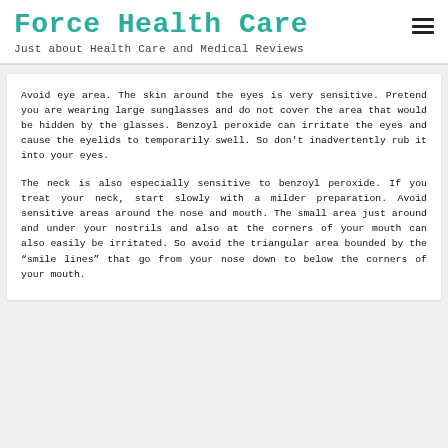Force Health Care
Just about Health Care and Medical Reviews
Avoid eye area. The skin around the eyes is very sensitive. Pretend you are wearing large sunglasses and do not cover the area that would be hidden by the glasses. Benzoyl peroxide can irritate the eyes and cause the eyelids to temporarily swell. So don't inadvertently rub it into your eyes.
The neck is also especially sensitive to benzoyl peroxide. If you treat your neck, start slowly with a milder preparation. Avoid sensitive areas around the nose and mouth. The small area just around and under your nostrils and also at the corners of your mouth can also easily be irritated. So avoid the triangular area bounded by the "smile lines" that go from your nose down to below the corners of your mouth.